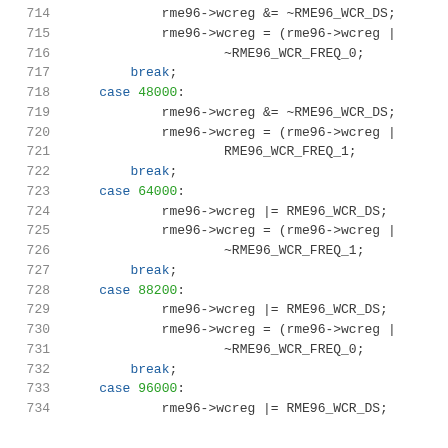Source code listing lines 714-734, C code for RME96 audio driver register manipulation with case statements for sample rates 48000, 64000, 88200, 96000